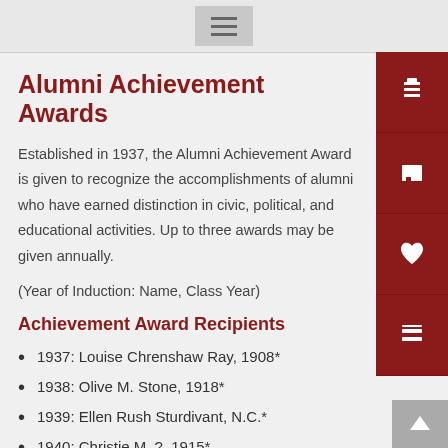Alumni Achievement Awards
Established in 1937, the Alumni Achievement Award is given to recognize the accomplishments of alumni who have earned distinction in civic, political, and educational activities. Up to three awards may be given annually.
(Year of Induction: Name, Class Year)
Achievement Award Recipients
1937: Louise Chrenshaw Ray, 1908*
1938: Olive M. Stone, 1918*
1939: Ellen Rush Sturdivant, N.C.*
1940: Christie M. ?, 1915*